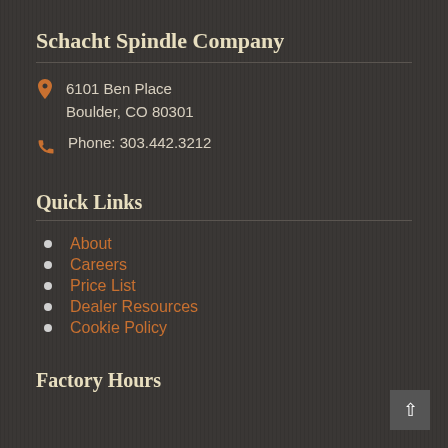Schacht Spindle Company
6101 Ben Place
Boulder, CO 80301
Phone: 303.442.3212
Quick Links
About
Careers
Price List
Dealer Resources
Cookie Policy
Factory Hours